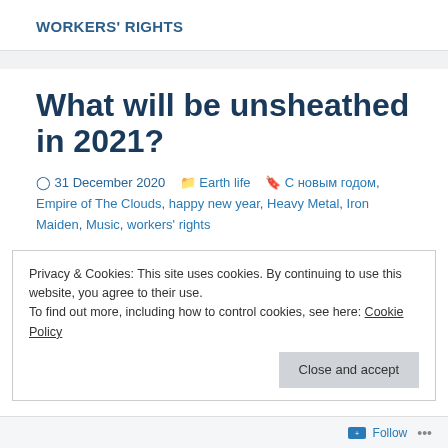WORKERS' RIGHTS
What will be unsheathed in 2021?
31 December 2020   Earth life   С новым годом, Empire of The Clouds, happy new year, Heavy Metal, Iron Maiden, Music, workers' rights
Privacy & Cookies: This site uses cookies. By continuing to use this website, you agree to their use.
To find out more, including how to control cookies, see here: Cookie Policy
Close and accept